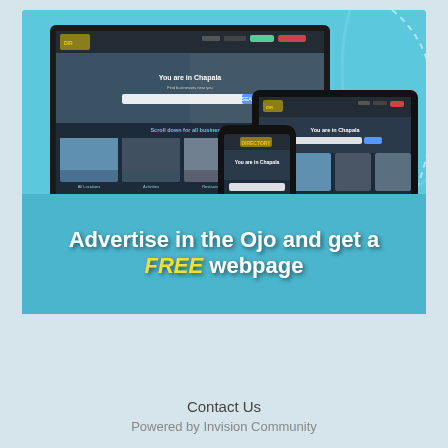[Figure (screenshot): Promotional advertisement banner showing a directory website (Chapala directory) displayed on a desktop monitor, smartphone, and tablet. The background is light blue. Below the device mockups is text: 'Advertise in the Ojo and get a FREE webpage' with FREE in yellow italic and the rest in white bold. A dashed white line runs along the bottom edge of the banner.]
Contact Us
Powered by Invision Community